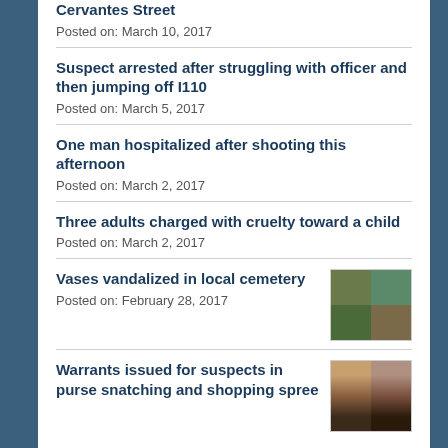Cervantes Street
Posted on: March 10, 2017
Suspect arrested after struggling with officer and then jumping off I110
Posted on: March 5, 2017
One man hospitalized after shooting this afternoon
Posted on: March 2, 2017
Three adults charged with cruelty toward a child
Posted on: March 2, 2017
Vases vandalized in local cemetery
Posted on: February 28, 2017
[Figure (photo): Cemetery vases vandalized - four-panel photo collage]
Warrants issued for suspects in purse snatching and shopping spree
[Figure (photo): Two suspect mugshots side by side]